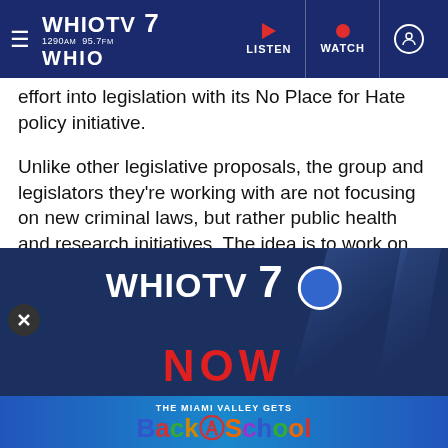WHIO TV 7 | 1290AM 95.7FM WHIO | LISTEN | WATCH
effort into legislation with its No Place for Hate policy initiative.
Unlike other legislative proposals, the group and legislators they're working with are not focusing on new criminal laws, but rather public health and research initiatives. The idea is to work on community building and other initiatives rather than putting more people in jail.
ADVERTISEMENT
[Figure (screenshot): WHIO TV 7 NOW advertisement banner with blue background showing channel logo and 'NOW' text in red, overlaid with a Back to School promotional banner at the bottom]